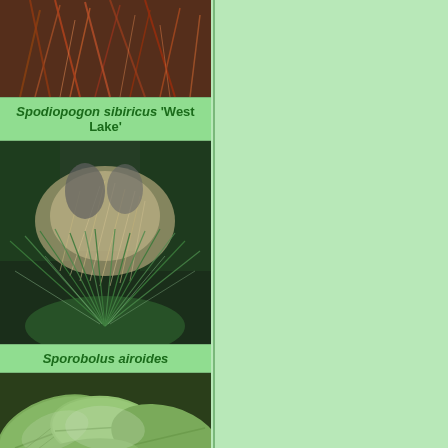[Figure (photo): Top portion of Spodiopogon sibiricus 'West Lake' plant with reddish-brown grass foliage]
Spodiopogon sibiricus 'West Lake'
[Figure (photo): Sporobolus airoides ornamental grass with airy, feathery plumes and dark evergreen shrubs in background]
Sporobolus airoides
[Figure (photo): Bottom portion showing large green hosta-like leaves, silvery-green with prominent veining]